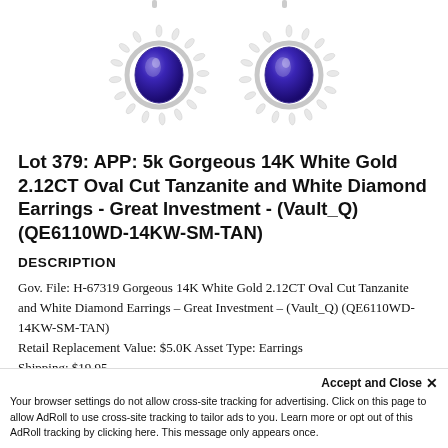[Figure (photo): Two tanzanite and white diamond earrings in 14K white gold, oval cut blue-purple tanzanite stones with diamond halo surrounds, photographed on white background.]
Lot 379: APP: 5k Gorgeous 14K White Gold 2.12CT Oval Cut Tanzanite and White Diamond Earrings - Great Investment - (Vault_Q) (QE6110WD-14KW-SM-TAN)
DESCRIPTION
Gov. File: H-67319 Gorgeous 14K White Gold 2.12CT Oval Cut Tanzanite and White Diamond Earrings - Great Investment - (Vault_Q) (QE6110WD-14KW-SM-TAN) Retail Replacement Value: $5.0K Asset Type: Earrings Shipping: $19.95
Accept and Close ✕ Your browser settings do not allow cross-site tracking for advertising. Click on this page to allow AdRoll to use cross-site tracking to tailor ads to you. Learn more or opt out of this AdRoll tracking by clicking here. This message only appears once.